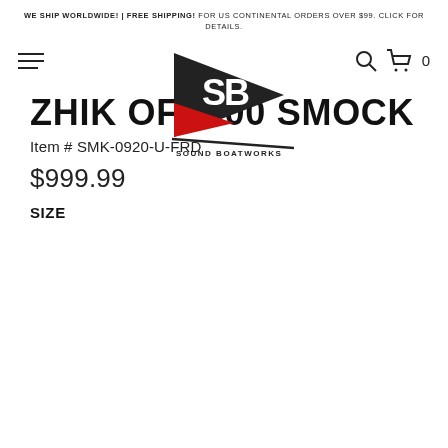WE SHIP WORLDWIDE! | FREE SHIPPING! FOR US CONTINENTAL ORDERS OVER $99. CLICK FOR DETAILS.
[Figure (logo): Sound Boatworks logo with SB initials on a triangular red and black pennant shape with text 'SOUND BOATWORKS' below]
ZHIK OFS900 SMOCK
Item # SMK-0920-U-FRD
$999.99
SIZE